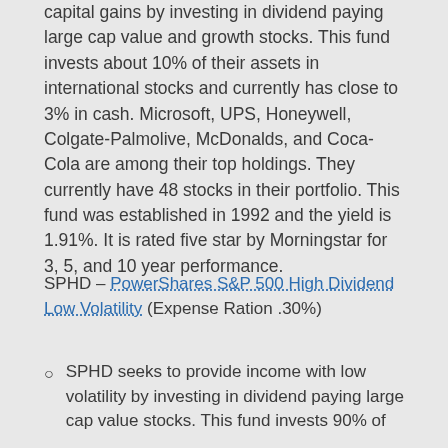capital gains by investing in dividend paying large cap value and growth stocks. This fund invests about 10% of their assets in international stocks and currently has close to 3% in cash. Microsoft, UPS, Honeywell, Colgate-Palmolive, McDonalds, and Coca-Cola are among their top holdings. They currently have 48 stocks in their portfolio. This fund was established in 1992 and the yield is 1.91%. It is rated five star by Morningstar for 3, 5, and 10 year performance.
SPHD – PowerShares S&P 500 High Dividend Low Volatility (Expense Ration .30%)
SPHD seeks to provide income with low volatility by investing in dividend paying large cap value stocks. This fund invests 90% of